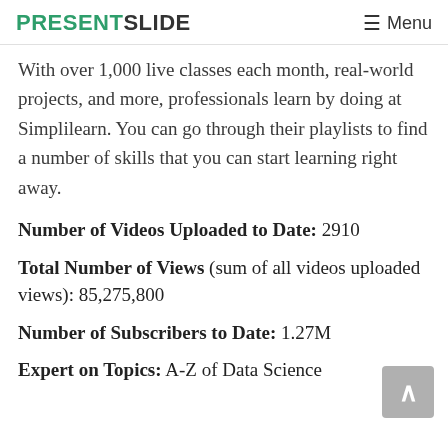PRESENTSLIDE  ≡ Menu
With over 1,000 live classes each month, real-world projects, and more, professionals learn by doing at Simplilearn. You can go through their playlists to find a number of skills that you can start learning right away.
Number of Videos Uploaded to Date: 2910
Total Number of Views (sum of all videos uploaded views): 85,275,800
Number of Subscribers to Date: 1.27M
Expert on Topics: A-Z of Data Science